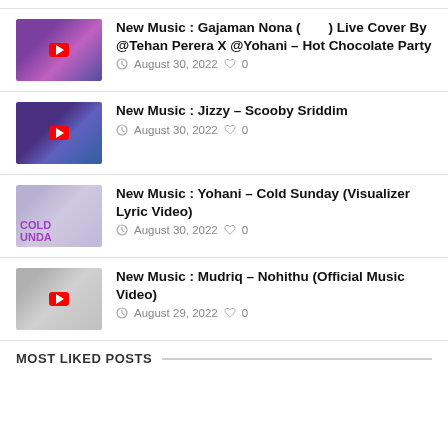New Music : Gajaman Nona ( ) Live Cover By @Tehan Perera X @Yohani – Hot Chocolate Party | August 30, 2022 | 0
New Music : Jizzy – Scooby Sriddim | August 30, 2022 | 0
New Music : Yohani – Cold Sunday (Visualizer Lyric Video) | August 30, 2022 | 0
New Music : Mudriq – Nohithu (Official Music Video) | August 29, 2022 | 0
MOST LIKED POSTS